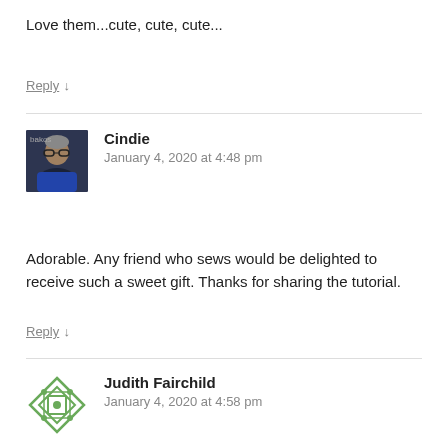Love them...cute, cute, cute...
Reply ↓
Cindie
January 4, 2020 at 4:48 pm
Adorable. Any friend who sews would be delighted to receive such a sweet gift. Thanks for sharing the tutorial.
Reply ↓
Judith Fairchild
January 4, 2020 at 4:58 pm